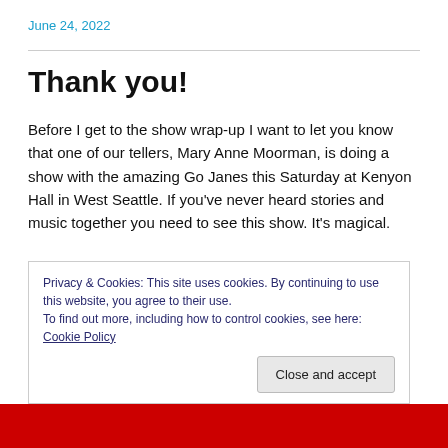June 24, 2022
Thank you!
Before I get to the show wrap-up I want to let you know that one of our tellers, Mary Anne Moorman, is doing a show with the amazing Go Janes this Saturday at Kenyon Hall in West Seattle. If you've never heard stories and music together you need to see this show. It's magical.
Privacy & Cookies: This site uses cookies. By continuing to use this website, you agree to their use.
To find out more, including how to control cookies, see here: Cookie Policy